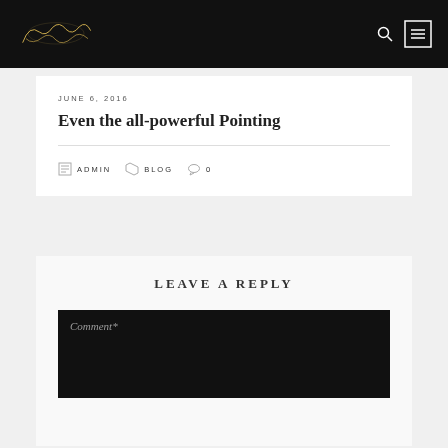Angela Carter – blog header with logo, search and menu icons
JUNE 6, 2016
Even the all-powerful Pointing
ADMIN   BLOG   0
LEAVE A REPLY
Comment*